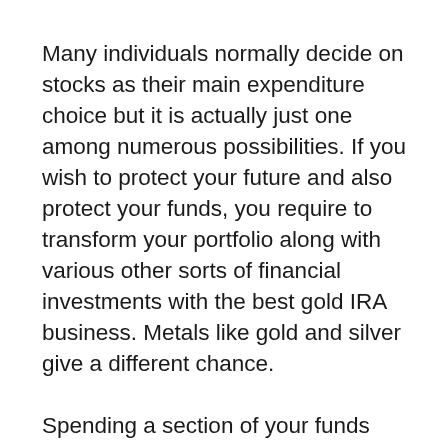Many individuals normally decide on stocks as their main expenditure choice but it is actually just one among numerous possibilities. If you wish to protect your future and also protect your funds, you require to transform your portfolio along with various other sorts of financial investments with the best gold IRA business. Metals like gold and silver give a different chance.
Spending a section of your funds right into metals, either via individual investment or even self-reliant IRA, permits you to spread out your assets and also make them a lot more stable just in case the securities market accidents. In the event that the securities market system crashes prior to